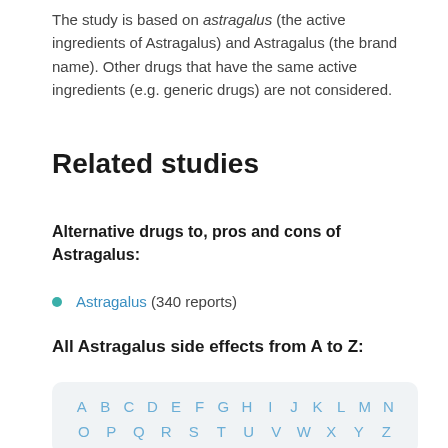The study is based on astragalus (the active ingredients of Astragalus) and Astragalus (the brand name). Other drugs that have the same active ingredients (e.g. generic drugs) are not considered.
Related studies
Alternative drugs to, pros and cons of Astragalus:
Astragalus (340 reports)
All Astragalus side effects from A to Z:
A B C D E F G H I J K L M N O P Q R S T U V W X Y Z